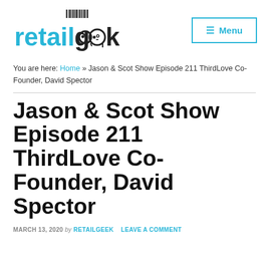retail geek [logo] Menu
You are here: Home » Jason & Scot Show Episode 211 ThirdLove Co-Founder, David Spector
Jason & Scot Show Episode 211 ThirdLove Co-Founder, David Spector
MARCH 13, 2020 by RETAILGEEK LEAVE A COMMENT